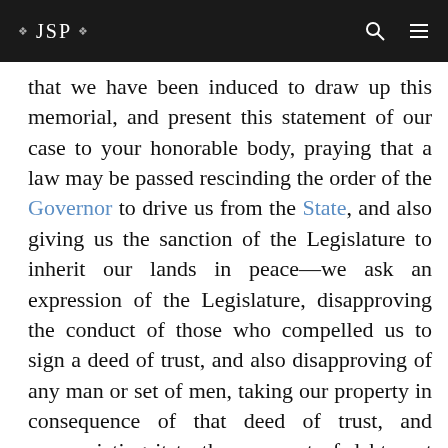❖ JSP ❖
that we have been induced to draw up this memorial, and present this statement of our case to your honorable body, praying that a law may be passed rescinding the order of the Governor to drive us from the State, and also giving us the sanction of the Legislature to inherit our lands in peace—we ask an expression of the Legislature, disapproving the conduct of those who compelled us to sign a deed of trust, and also disapproving of any man or set of men, taking our property in consequence of that deed of trust, and appropriating it to the payment of debts not contracted by us, or for the payment of damages sustained in consequence of trespasses committed by others. We have no common stock, our